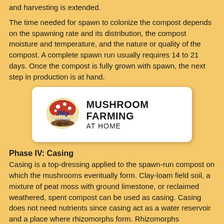and harvesting is extended.
The time needed for spawn to colonize the compost depends on the spawning rate and its distribution, the compost moisture and temperature, and the nature or quality of the compost. A complete spawn run usually requires 14 to 21 days. Once the compost is fully grown with spawn, the next step in production is at hand.
[Figure (logo): JMP Mushrooms logo with text MUSHROOM FARMING AT HOME on white rounded rectangle background]
Phase IV: Casing
Casing is a top-dressing applied to the spawn-run compost on which the mushrooms eventually form. Clay-loam field soil, a mixture of peat moss with ground limestone, or reclaimed weathered, spent compost can be used as casing. Casing does not need nutrients since casing act as a water reservoir and a place where rhizomorphs form. Rhizomorphs